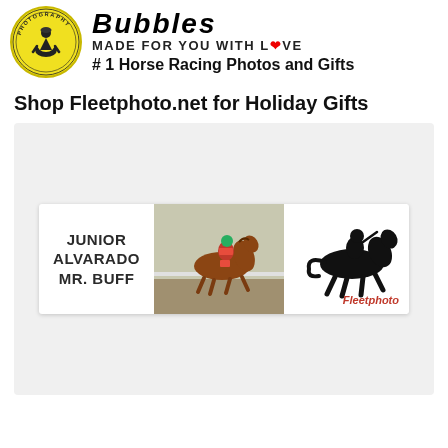[Figure (logo): Circular yellow and black logo with jockey silhouette on horse, text around the rim reading 'photography']
Bubbles MADE FOR YOU WITH LOVE # 1 Horse Racing Photos and Gifts
Shop Fleetphoto.net for Holiday Gifts
[Figure (photo): A bumper sticker product showing 'JUNIOR ALVARADO MR. BUFF' text on the left, a photo of a jockey on a horse racing in the center, and a black silhouette of a horse and jockey on the right with 'Fleetphoto' in red text]